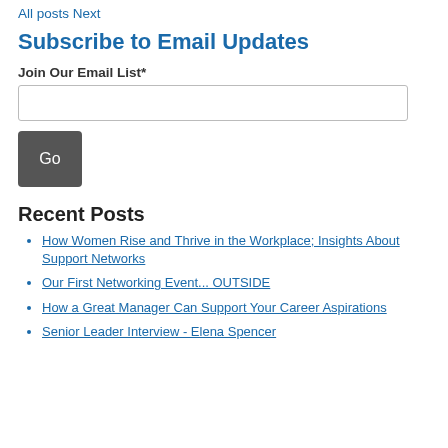All posts  Next
Subscribe to Email Updates
Join Our Email List*
Go
Recent Posts
How Women Rise and Thrive in the Workplace; Insights About Support Networks
Our First Networking Event... OUTSIDE
How a Great Manager Can Support Your Career Aspirations
Senior Leader Interview - Elena Spencer